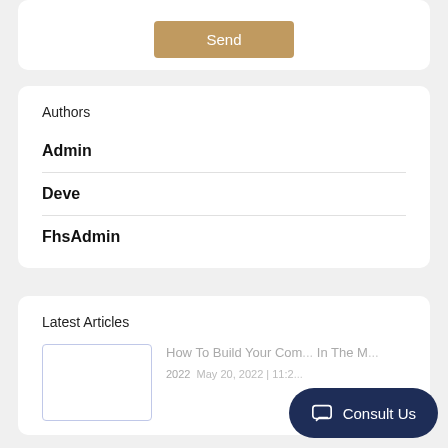Send
Authors
Admin
Deve
FhsAdmin
Latest Articles
How To Build Your Com... In The M... 2022 May 20, 2022 | 11:2...
Consult Us